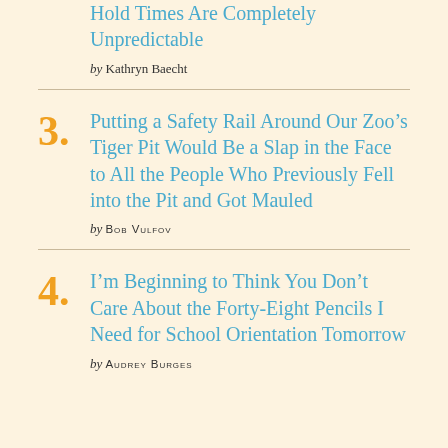Hold Times Are Completely Unpredictable
by KATHRYN BAECHT
3. Putting a Safety Rail Around Our Zoo’s Tiger Pit Would Be a Slap in the Face to All the People Who Previously Fell into the Pit and Got Mauled
by BOB VULFOV
4. I’m Beginning to Think You Don’t Care About the Forty-Eight Pencils I Need for School Orientation Tomorrow
by AUDREY BURGES